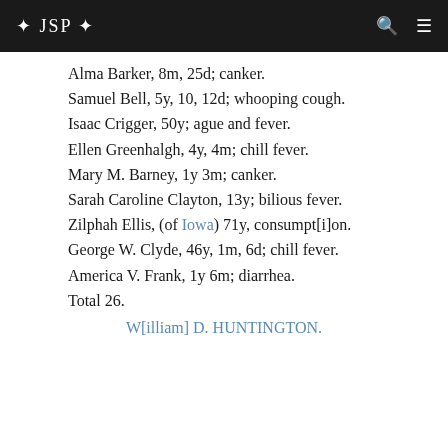❖ JSP ❖
Alma Barker, 8m, 25d; canker.
Samuel Bell, 5y, 10, 12d; whooping cough.
Isaac Crigger, 50y; ague and fever.
Ellen Greenhalgh, 4y, 4m; chill fever.
Mary M. Barney, 1y 3m; canker.
Sarah Caroline Clayton, 13y; bilious fever.
Zilphah Ellis, (of Iowa) 71y, consumption.
George W. Clyde, 46y, 1m, 6d; chill fever.
America V. Frank, 1y 6m; diarrhea.
Total 26.
W[illiam] D. HUNTINGTON.